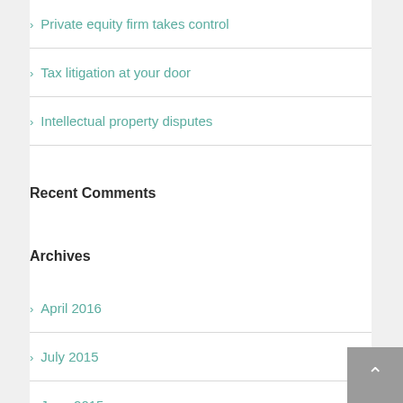Private equity firm takes control
Tax litigation at your door
Intellectual property disputes
Recent Comments
Archives
April 2016
July 2015
June 2015